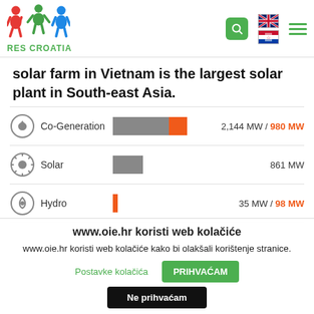RES CROATIA
solar farm in Vietnam is the largest solar plant in South-east Asia.
[Figure (bar-chart): Energy capacity by source]
www.oie.hr koristi web kolačiće
www.oie.hr koristi web kolačiće kako bi olakšali korištenje stranice.
Postavke kolačića
PRIHVAĆAM
Ne prihvaćam